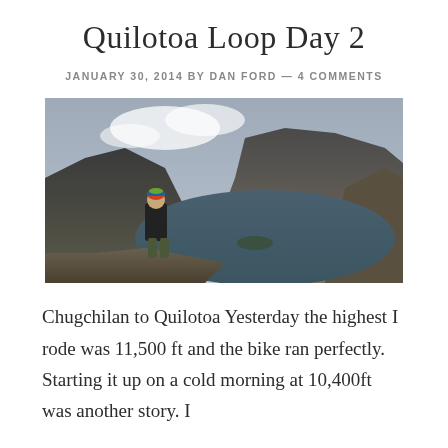Quilotoa Loop Day 2
JANUARY 30, 2014 BY DAN FORD — 4 COMMENTS
[Figure (photo): A person standing on the rim of the Quilotoa volcanic crater lake, viewed from behind. They wear a colorful beanie hat and dark jacket, looking out over the large green-blue crater lake surrounded by steep rocky mountain walls with clouds in the background.]
Chugchilan to Quilotoa Yesterday the highest I rode was 11,500 ft and the bike ran perfectly. Starting it up on a cold morning at 10,400ft was another story. I